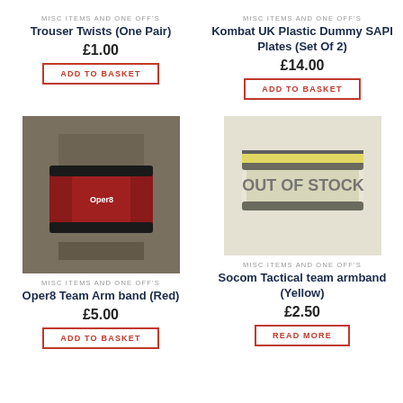MISC ITEMS AND ONE OFF'S
Trouser Twists (One Pair)
£1.00
ADD TO BASKET
MISC ITEMS AND ONE OFF'S
Kombat UK Plastic Dummy SAPI Plates (Set Of 2)
£14.00
ADD TO BASKET
[Figure (photo): Red Oper8 team armband on a tattooed arm]
[Figure (photo): Yellow Socom Tactical team armband with OUT OF STOCK overlay]
MISC ITEMS AND ONE OFF'S
Oper8 Team Arm band (Red)
£5.00
ADD TO BASKET
MISC ITEMS AND ONE OFF'S
Socom Tactical team armband (Yellow)
£2.50
READ MORE